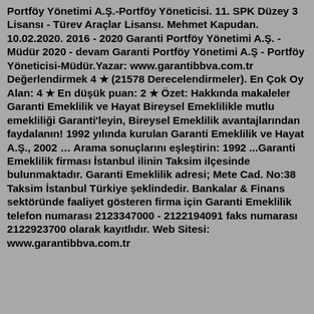Garanti Bankası Fığ Yönetimek 2020 devam Garanti Portföy Yönetimi A.Ş.-Portföy Yöneticisi. 11. SPK Düzey 3 Lisansı - Türev Araçlar Lisansı. Mehmet Kapudan. 10.02.2020. 2016 - 2020 Garanti Portföy Yönetimi A.Ş. - Müdür 2020 - devam Garanti Portföy Yönetimi A.Ş - Portföy Yöneticisi-Müdür.Yazar: www.garantibbva.com.tr Değerlendirmek 4 ★ (21578 Derecelendirmeler). En Çok Oy Alan: 4 ★ En düşük puan: 2 ★ Özet: Hakkında makaleler Garanti Emeklilik ve Hayat Bireysel Emeklilikle mutlu emekliliği Garanti'leyin, Bireysel Emeklilik avantajlarından faydalanın! 1992 yılında kurulan Garanti Emeklilik ve Hayat A.Ş., 2002 … Arama sonuçlarını eşleştirin: 1992 ...Garanti Emeklilik firması İstanbul ilinin Taksim ilçesinde bulunmaktadır. Garanti Emeklilik adresi; Mete Cad. No:38 Taksim İstanbul Türkiye şeklindedir. Bankalar & Finans sektöründe faaliyet gösteren firma için Garanti Emeklilik telefon numarası 2123347000 - 2122194091 faks numarası 2122923700 olarak kayıtlıdır. Web Sitesi: www.garantibbva.com.tr